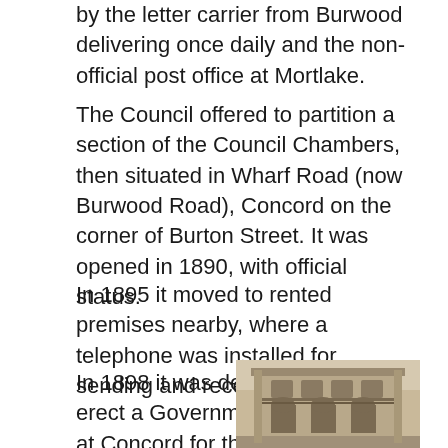by the letter carrier from Burwood delivering once daily and the non-official post office at Mortlake.
The Council offered to partition a section of the Council Chambers, then situated in Wharf Road (now Burwood Road), Concord on the corner of Burton Street. It was opened in 1890, with official status.
In 1895 it moved to rented premises nearby, where a telephone was installed for sending and receiving telegrams.
In 1898 it was decided to erect a Government building at Concord for the Post & Telegraph Office
[Figure (photo): Historical black and white photograph of a Government building, showing a two-storey Victorian-era building with arched windows and ornate facade details including verandah/balcony.]